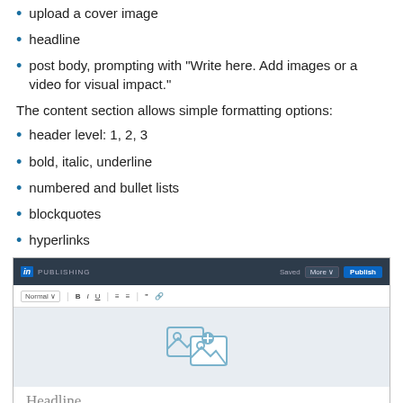upload a cover image
headline
post body, prompting with "Write here. Add images or a video for visual impact."
The content section allows simple formatting options:
header level: 1, 2, 3
bold, italic, underline
numbered and bullet lists
blockquotes
hyperlinks
[Figure (screenshot): LinkedIn Publishing interface screenshot showing nav bar with PUBLISHING label, Saved and Publish buttons, formatting toolbar with Normal/B/I/U options, a cover image upload area with image icons, Headline placeholder text, and Write here prompt text.]